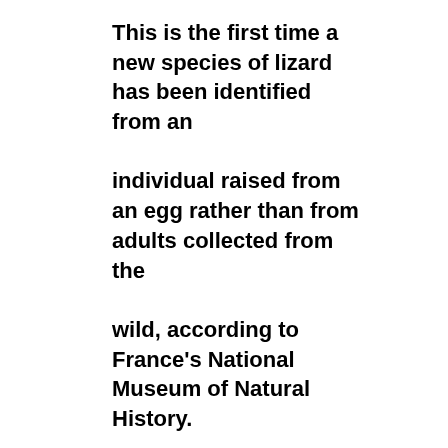This is the first time a new species of lizard has been identified from an individual raised from an egg rather than from adults collected from the wild, according to France's National Museum of Natural History.

In passing the amendment, Cape Verdeâs Council of Ministers wrote that money laundering in